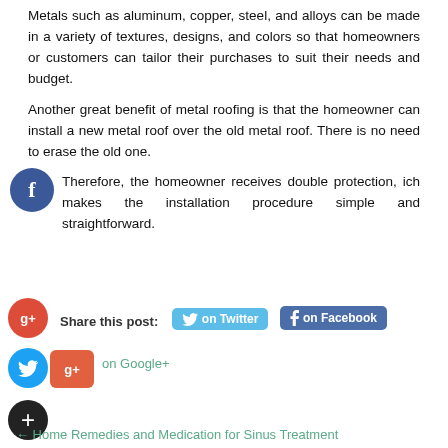Metals such as aluminum, copper, steel, and alloys can be made in a variety of textures, designs, and colors so that homeowners or customers can tailor their purchases to suit their needs and budget.
Another great benefit of metal roofing is that the homeowner can install a new metal roof over the old metal roof. There is no need to erase the old one.
Therefore, the homeowner receives double protection, which makes the installation procedure simple and straightforward.
Share this post:  on Twitter  on Facebook  on Google+
← Home Remedies and Medication for Sinus Treatment